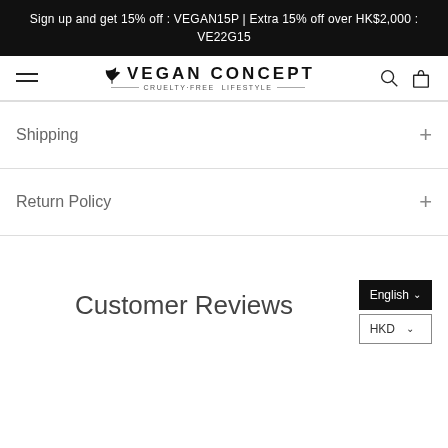Sign up and get 15% off : VEGAN15P | Extra 15% off over HK$2,000 : VE22G15
[Figure (logo): Vegan Concept logo with leaf icon and tagline CRUELTY-FREE LIFESTYLE]
Shipping
Return Policy
Customer Reviews
English
HKD